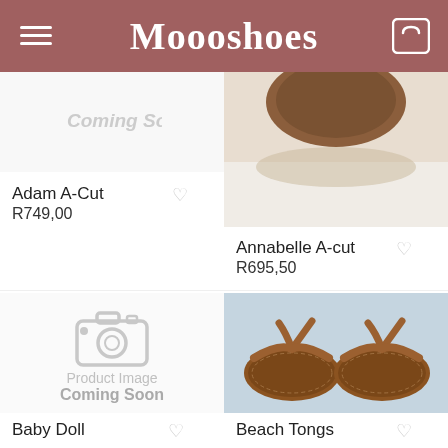Moooshoes
[Figure (screenshot): Partial shoe product image top left - Coming Soon placeholder with greyed text]
[Figure (photo): Partial shoe product image top right - Annabelle A-cut brown leather shoe closeup]
Adam A-Cut
R749,00
Annabelle A-cut
R695,50
[Figure (photo): Product Image Coming Soon placeholder with camera icon]
[Figure (photo): Beach Tongs product photo - pair of brown leather flip flop sandals on blue background]
Baby Doll
Beach Tongs